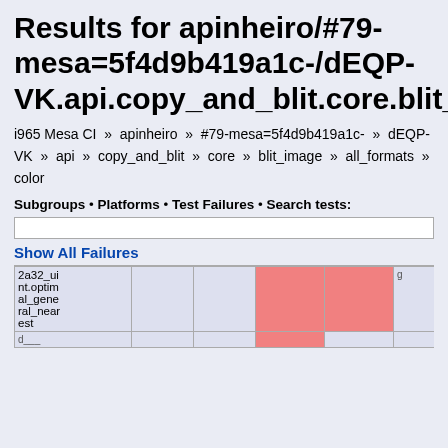Results for apinheiro/#79-mesa=5f4d9b419a1c-/dEQP-VK.api.copy_and_blit.core.blit_image.all_formats.color:
i965 Mesa CI » apinheiro » #79-mesa=5f4d9b419a1c- » dEQP-VK » api » copy_and_blit » core » blit_image » all_formats » color
Subgroups • Platforms • Test Failures • Search tests:
Show All Failures
| 2a32_uint.optimal_general_nearest |  |  | (fail) | (fail) |  |  |